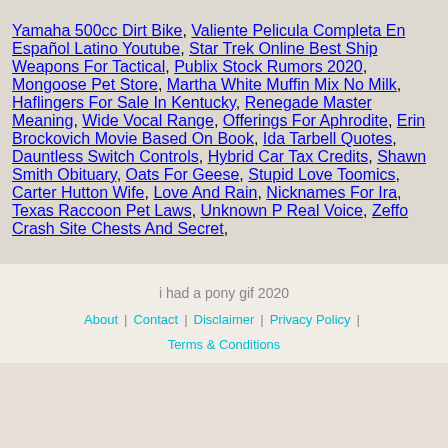Yamaha 500cc Dirt Bike, Valiente Pelicula Completa En Español Latino Youtube, Star Trek Online Best Ship Weapons For Tactical, Publix Stock Rumors 2020, Mongoose Pet Store, Martha White Muffin Mix No Milk, Haflingers For Sale In Kentucky, Renegade Master Meaning, Wide Vocal Range, Offerings For Aphrodite, Erin Brockovich Movie Based On Book, Ida Tarbell Quotes, Dauntless Switch Controls, Hybrid Car Tax Credits, Shawn Smith Obituary, Oats For Geese, Stupid Love Toomics, Carter Hutton Wife, Love And Rain, Nicknames For Ira, Texas Raccoon Pet Laws, Unknown P Real Voice, Zeffo Crash Site Chests And Secret,
i had a pony gif 2020
About | Contact | Disclaimer | Privacy Policy | Terms & Conditions